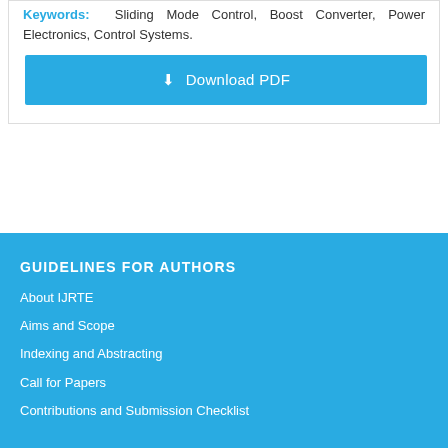Keywords: Sliding Mode Control, Boost Converter, Power Electronics, Control Systems.
Download PDF
GUIDELINES FOR AUTHORS
About IJRTE
Aims and Scope
Indexing and Abstracting
Call for Papers
Contributions and Submission Checklist